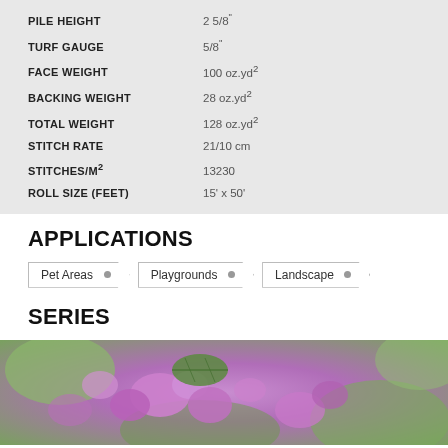| Property | Value |
| --- | --- |
| PILE HEIGHT | 2 5/8" |
| TURF GAUGE | 5/8" |
| FACE WEIGHT | 100 oz.yd² |
| BACKING WEIGHT | 28 oz.yd² |
| TOTAL WEIGHT | 128 oz.yd² |
| STITCH RATE | 21/10 cm |
| STITCHES/M² | 13230 |
| ROLL SIZE (FEET) | 15' x 50' |
APPLICATIONS
Pet Areas
Playgrounds
Landscape
SERIES
[Figure (photo): Close-up photo of purple/pink flowers with green leaves, blurred background, natural outdoor scene]